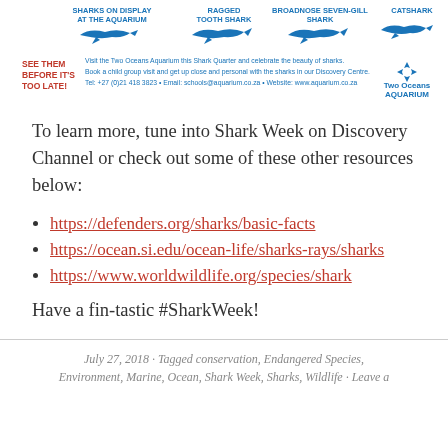[Figure (illustration): Two Oceans Aquarium shark promotional banner showing shark silhouettes, 'See Them Before It's Too Late!' text, contact details, and Two Oceans Aquarium logo in blue.]
To learn more, tune into Shark Week on Discovery Channel or check out some of these other resources below:
https://defenders.org/sharks/basic-facts
https://ocean.si.edu/ocean-life/sharks-rays/sharks
https://www.worldwildlife.org/species/shark
Have a fin-tastic #SharkWeek!
July 27, 2018 · Tagged conservation, Endangered Species, Environment, Marine, Ocean, Shark Week, Sharks, Wildlife · Leave a